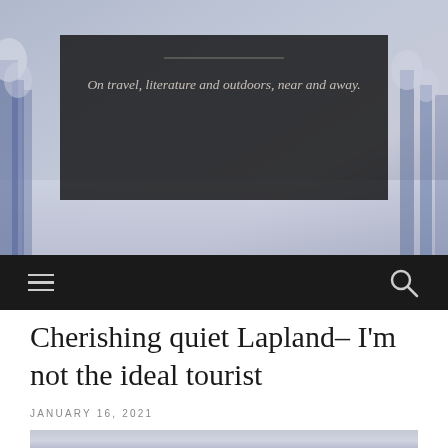[Figure (photo): Snowy winter landscape with frost-covered trees and a dark semi-transparent overlay banner, serving as a blog website header image.]
On travel, literature and outdoors, near and away.
[Figure (screenshot): Navigation bar with hamburger menu icon on the left and search icon on the right, on a dark background.]
Cherishing quiet Lapland– I'm not the ideal tourist
JANUARY 16, 2021
[Figure (photo): Partial view of a winter Lapland landscape photo at the bottom of the page.]